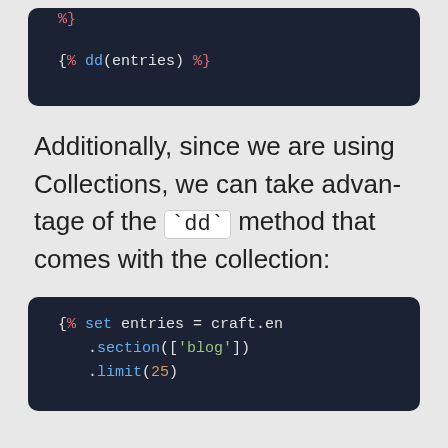[Figure (screenshot): Code block showing: %}]
Additionally, since we are using Collections, we can take advantage of the `dd` method that comes with the collection:
[Figure (screenshot): Code block showing: {% set entries = craft.en .section(['blog']) .limit(25)]